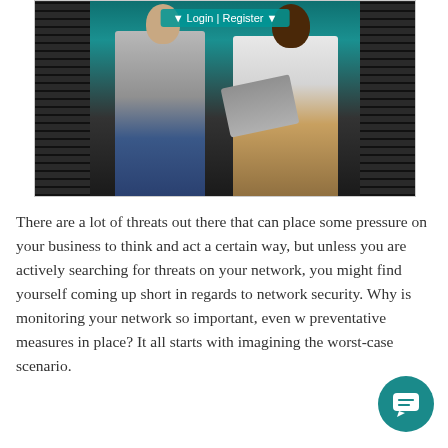[Figure (photo): Two women in a server room looking at a laptop. One wears a gray jacket, the other a white jacket with glasses. A teal navigation bar with 'Login | Register' is visible at the top of the image.]
There are a lot of threats out there that can place some pressure on your business to think and act a certain way, but unless you are actively searching for threats on your network, you might find yourself coming up short in regards to network security. Why is monitoring your network so important, even w preventative measures in place? It all starts with imagining the worst-case scenario.